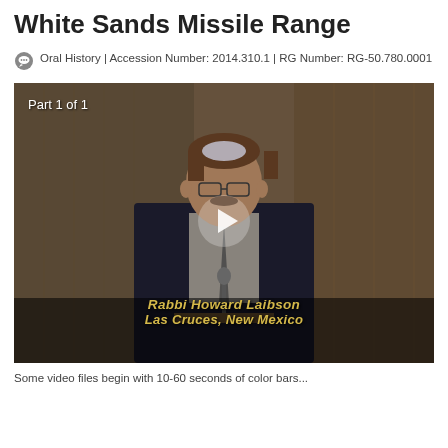White Sands Missile Range
Oral History | Accession Number: 2014.310.1 | RG Number: RG-50.780.0001
[Figure (screenshot): Video thumbnail showing a man in a dark suit speaking at a podium. He has brown hair and glasses, and is wearing a kippah. The video is paused and shows a white play button triangle in the center. Text overlay in the lower portion reads 'Rabbi Howard Laibson' and 'Las Cruces, New Mexico' in gold italic text. Upper left corner shows 'Part 1 of 1' in white text.]
Some video files begin with 10-60 seconds of color bars...